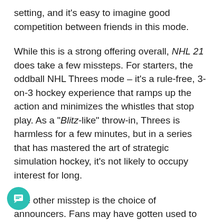setting, and it's easy to imagine good competition between friends in this mode.
While this is a strong offering overall, NHL 21 does take a few missteps. For starters, the oddball NHL Threes mode – it's a rule-free, 3-on-3 hockey experience that ramps up the action and minimizes the whistles that stop play. As a "Blitz-like" throw-in, Threes is harmless for a few minutes, but in a series that has mastered the art of strategic simulation hockey, it's not likely to occupy interest for long.
The other misstep is the choice of announcers. Fans may have gotten used to these voices, but they've never sounded more disconnected from the on-ice action than they do in NHL 21. Whether it's the repetitive, disjointed commentary during standard games or the cringeworthy 'e-bro' exclamations in Threes mode, it all feels forced and actually prevents immersion in the experience.